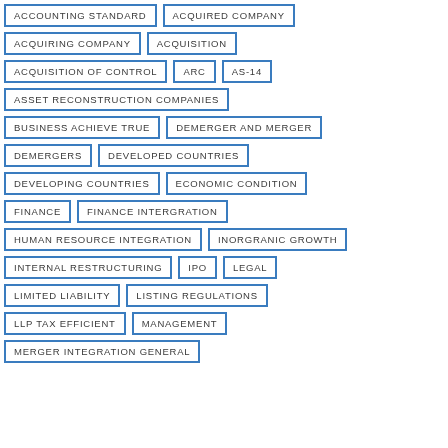ACCOUNTING STANDARD
ACQUIRED COMPANY
ACQUIRING COMPANY
ACQUISITION
ACQUISITION OF CONTROL
ARC
AS-14
ASSET RECONSTRUCTION COMPANIES
BUSINESS ACHIEVE TRUE
DEMERGER AND MERGER
DEMERGERS
DEVELOPED COUNTRIES
DEVELOPING COUNTRIES
ECONOMIC CONDITION
FINANCE
FINANCE INTERGRATION
HUMAN RESOURCE INTEGRATION
INORGRANIC GROWTH
INTERNAL RESTRUCTURING
IPO
LEGAL
LIMITED LIABILITY
LISTING REGULATIONS
LLP TAX EFFICIENT
MANAGEMENT
MERGER INTEGRATION GENERAL